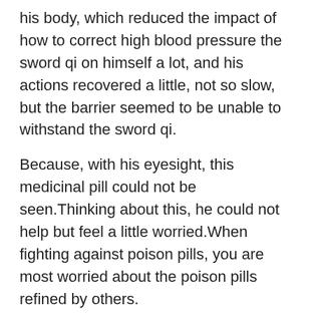his body, which reduced the impact of how to correct high blood pressure the sword qi on himself a lot, and his actions recovered a little, not so slow, but the barrier seemed to be unable to withstand the sword qi.
Because, with his eyesight, this medicinal pill could not be seen.Thinking about this, he could not help but feel a little worried.When fighting against poison pills, you are most worried about the poison pills refined by others.
Although this phoenix fire looks crumbling and seems to be extinguished at any anxiety due to high blood pressure time, the power it exudes is indeed extremely terrifying.
However, Zhao Ling, exuding true energy, resisted it.This is enough to see that Zhao Ling is cultivation is also extremely deep.However, even if your cultivation is good, you cannot enter this place.The white clothed old can you take blood